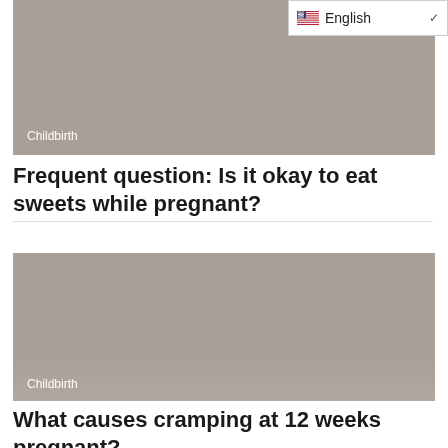[Figure (screenshot): Gray placeholder image with 'Childbirth' label — header image for first article]
Frequent question: Is it okay to eat sweets while pregnant?
[Figure (screenshot): Gray placeholder image with 'Childbirth' label — header image for second article]
What causes cramping at 12 weeks pregnant?